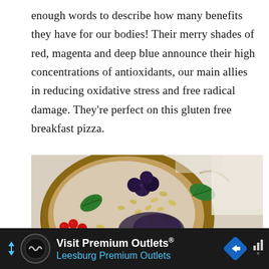enough words to describe how many benefits they have for our bodies! Their merry shades of red, magenta and deep blue announce their high concentrations of antioxidants, our main allies in reducing oxidative stress and free radical damage. They're perfect on this gluten free breakfast pizza.
[Figure (photo): Overhead close-up photo of a gluten-free breakfast pizza topped with blueberries, red currants, pine nuts, and fresh mint leaves on white parchment paper]
Visit Premium Outlets® Leesburg Premium Outlets